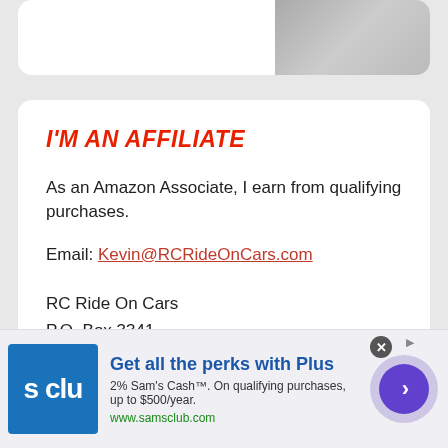[Figure (photo): Partial photo card at top of page showing a person, cropped]
I'M AN AFFILIATE
As an Amazon Associate, I earn from qualifying purchases.
Email: Kevin@RCRideOnCars.com
RC Ride On Cars
P.O. Box 3341
Bethlehem, PA 18017
[Figure (screenshot): Sam's Club advertisement banner: 'Get all the perks with Plus' — 2% Sam's Cash on qualifying purchases up to $500/year. www.samsclub.com]